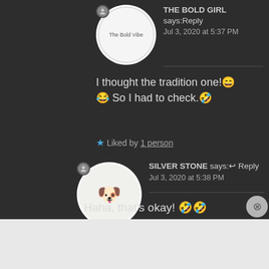[Figure (illustration): Round avatar for The Bold Vibe with circular logo on white background]
THE BOLD GIRL says: Reply
Jul 3, 2020 at 5:37 PM
I thought the tradition one!😄😂 So I had to check.🤣
★ Liked by 1 person
[Figure (illustration): Round avatar for Silver Stone with sleeping dog cartoon drawing]
SILVER STONE says:← Reply
Jul 3, 2020 at 5:38 PM
Haha, that's okay! 🤣🤣
★ Liked by 1 person
Advertisements
[Figure (screenshot): WordPress VIP advertisement banner with map background and Learn more button]